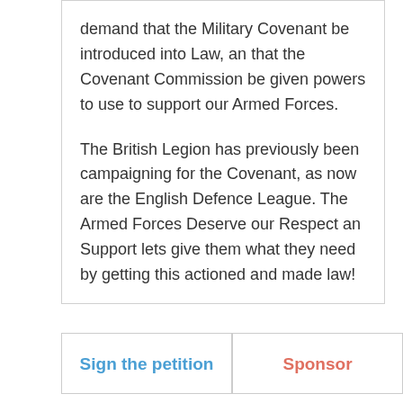demand that the Military Covenant be introduced into Law, an that the Covenant Commission be given powers to use to support our Armed Forces.
The British Legion has previously been campaigning for the Covenant, as now are the English Defence League. The Armed Forces Deserve our Respect an Support lets give them what they need by getting this actioned and made law!
Sign the petition
Sponsor